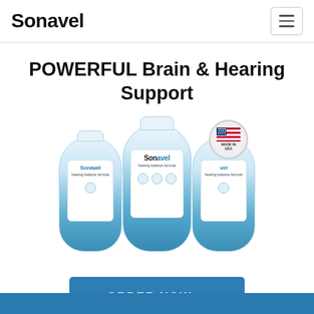Sonavel
POWERFUL Brain & Hearing Support
[Figure (photo): Three Sonavel supplement bottles arranged together with a 'Made in USA' circular badge in the upper right. The bottles have white and blue labels with the Sonavel brand name.]
ORDER NOW →